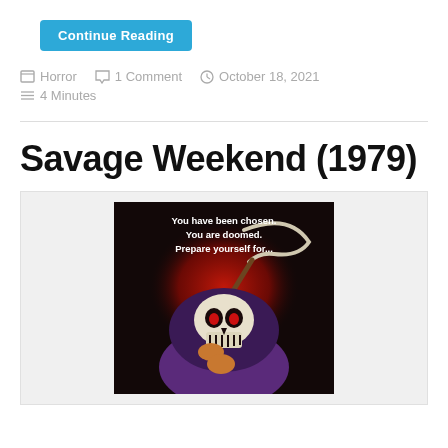Continue Reading
Horror   1 Comment   October 18, 2021
4 Minutes
Savage Weekend (1979)
[Figure (photo): Movie poster for Savage Weekend (1979) showing a skull-faced reaper in a purple hood holding a scythe against a red background, with text: You have been chosen. You are doomed. Prepare yourself for...]